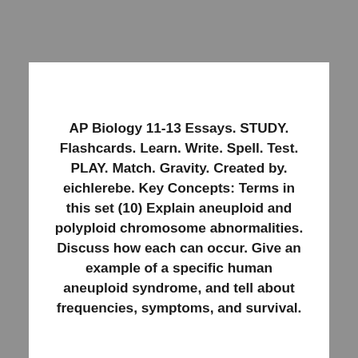AP Biology 11-13 Essays. STUDY. Flashcards. Learn. Write. Spell. Test. PLAY. Match. Gravity. Created by. eichlerebe. Key Concepts: Terms in this set (10) Explain aneuploid and polyploid chromosome abnormalities. Discuss how each can occur. Give an example of a specific human aneuploid syndrome, and tell about frequencies, symptoms, and survival.